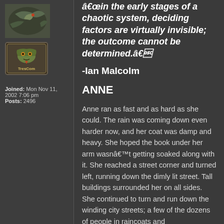[Figure (illustration): Small dinosaur/pterosaur avatar image at top of left column]
[Figure (logo): TresCom badge/logo avatar in left column]
Joined: Mon Nov 11, 2002 7:06 pm
Posts: 2496
â€œin the early stages of a chaotic system, deciding factors are virtually invisible; the outcome cannot be determined.â€
-Ian Malcolm
ANNE
Anne ran as fast and as hard as she could. The rain was coming down even harder now, and her coat was damp and heavy. She hoped the book under her arm wasnâ€™t getting soaked along with it. She reached a street corner and turned left, running down the dimly lit street. Tall buildings surrounded her on all sides. She continued to turn and run down the winding city streets; a few of the dozens of people in raincoats and